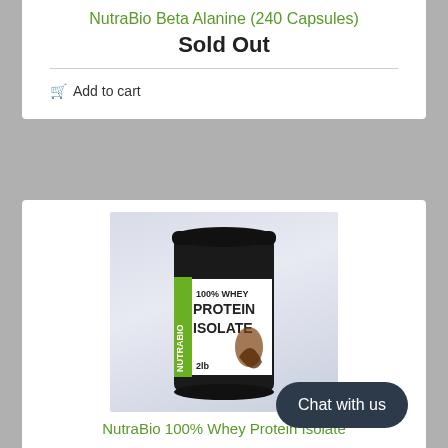NutraBio Beta Alanine (240 Capsules)
Sold Out
Add to cart
[Figure (photo): NutraBio 100% Whey Protein Isolate supplement container with black label and green branding, chocolate flavor]
NutraBio 100% Whey Protein Isolate
Chat with us